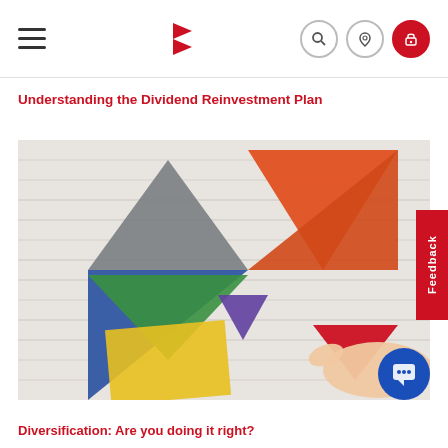Navigation bar with hamburger menu, red flag logo, search icon, location icon, and red lock icon
Understanding the Dividend Reinvestment Plan
[Figure (photo): Photo of colorful tangram puzzle pieces on a white wooden surface. Pieces include blue, gray, orange (large triangle), green, yellow, purple triangles and square. A hand is placing a red triangle piece into the arrangement.]
Diversification: Are you doing it right?